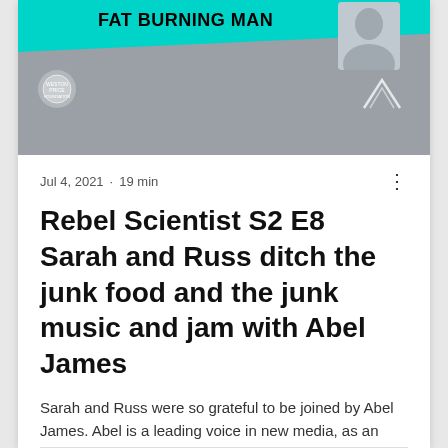[Figure (photo): Podcast banner for Fat Burning Man with teal diagonal banner header, gray background, and a person photo in the top right corner with logos]
Jul 4, 2021 · 19 min
Rebel Scientist S2 E8 Sarah and Russ ditch the junk food and the junk music and jam with Abel James
Sarah and Russ were so grateful to be joined by Abel James. Abel is a leading voice in new media, as an Immersive ...
27  0